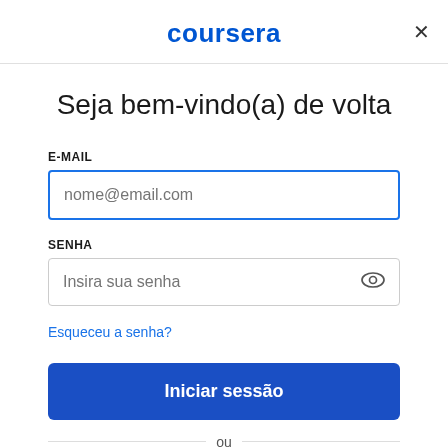coursera
Seja bem-vindo(a) de volta
E-MAIL
nome@email.com
SENHA
Insira sua senha
Esqueceu a senha?
Iniciar sessão
ou